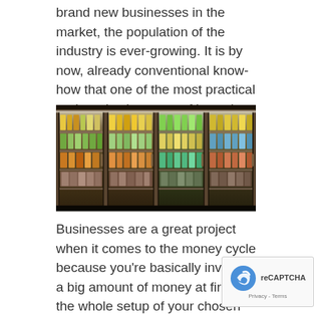brand new businesses in the market, the population of the industry is ever-growing. It is by now, already conventional know-how that one of the most practical and productive ways of investing your money is through establishing a well-planned business.
[Figure (photo): Refrigerated display cases in a grocery or convenience store, stocked with packaged food products on multiple shelves, viewed through glass doors.]
Businesses are a great project when it comes to the money cycle because you're basically investing a big amount of money at first for the whole setup of your chosen business that could, later on, be repaid when the business starts